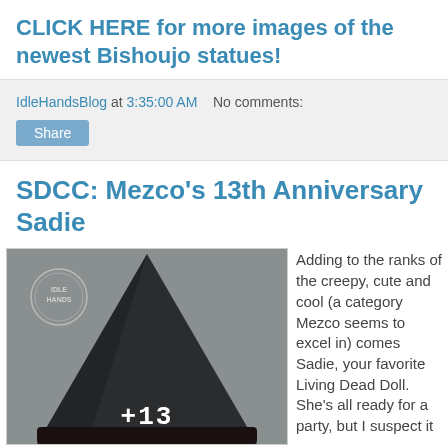CLICK HERE for more images of the newest Bishoujo statues!
IdleHandsBlog at 3:35:00 AM   No comments:
SDCC: Mezco's 13th Anniversary Sadie
[Figure (photo): Photo of a Living Dead Doll character (Sadie) wearing a dark party hat with '+13' printed on it. An 'Idle Hands' stamp/watermark is visible in the upper left corner of the photo.]
Adding to the ranks of the creepy, cute and cool (a category Mezco seems to excel in) comes Sadie, your favorite Living Dead Doll. She's all ready for a party, but I suspect it